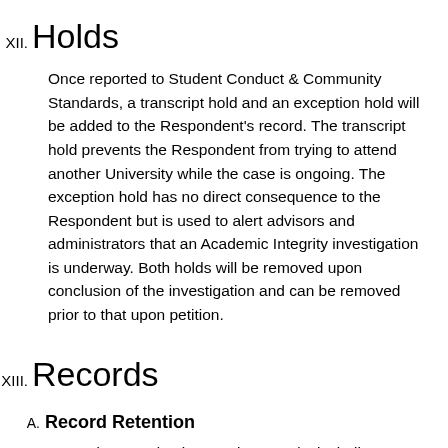XII. Holds
Once reported to Student Conduct & Community Standards, a transcript hold and an exception hold will be added to the Respondent's record. The transcript hold prevents the Respondent from trying to attend another University while the case is ongoing. The exception hold has no direct consequence to the Respondent but is used to alert advisors and administrators that an Academic Integrity investigation is underway. Both holds will be removed upon conclusion of the investigation and can be removed prior to that upon petition.
XIII. Records
A. Record Retention
Student Academic Integrity records, including